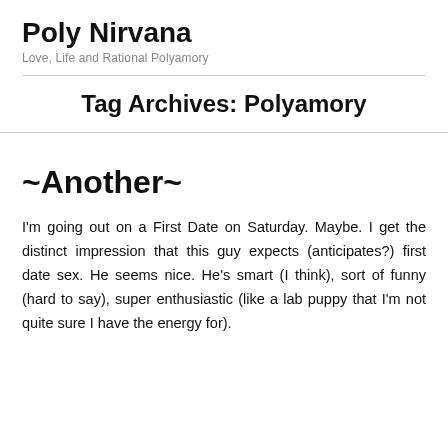Poly Nirvana
Love, Life and Rational Polyamory
Tag Archives: Polyamory
~Another~
I'm going out on a First Date on Saturday. Maybe. I get the distinct impression that this guy expects (anticipates?) first date sex. He seems nice.  He's smart (I think), sort of funny (hard to say), super enthusiastic (like a lab puppy that I'm not quite sure I have the energy for).